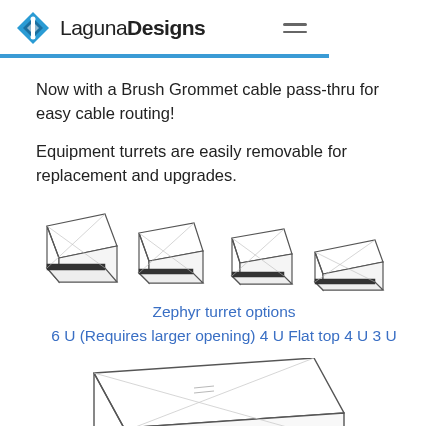LagunaDesigns
Now with a Brush Grommet cable pass-thru for easy cable routing!
Equipment turrets are easily removable for replacement and upgrades.
[Figure (illustration): Four Zephyr turret options shown in a row: 6U, 4U Flat top, 4U, and 3U turrets depicted as line drawings]
Zephyr turret options
6 U (Requires larger opening) 4 U Flat top 4 U 3 U
[Figure (illustration): Partial line drawing of a Zephyr turret shown from above/side angle at bottom of page]